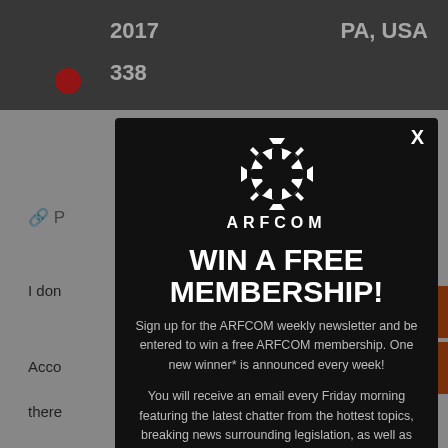2017   PA, USA
338
I don
Acco
there
Lowe
NSS
2857
Audu
(610)
That
The
Hayt
[Figure (screenshot): ARFCOM popup modal on dark background with gear logo, headline 'WIN A FREE MEMBERSHIP!', promotional text about newsletter signup, and email input field. Has X close button. Background shows partial forum thread page with year 2017, PA USA location, post count 338.]